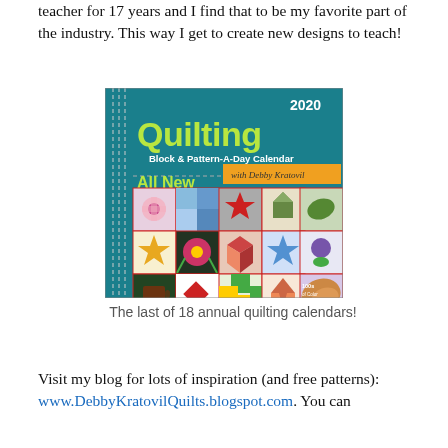teacher for 17 years and I find that to be my favorite part of the industry. This way I get to create new designs to teach!
[Figure (photo): Cover of the 2020 Quilting Block & Pattern-A-Day Calendar with Debby Kratovil. Shows 'All New' banner and colorful quilt block designs. Text: '100s of Color Designs with Patterns'.]
The last of 18 annual quilting calendars!
Visit my blog for lots of inspiration (and free patterns): www.DebbyKratovilQuilts.blogspot.com. You can